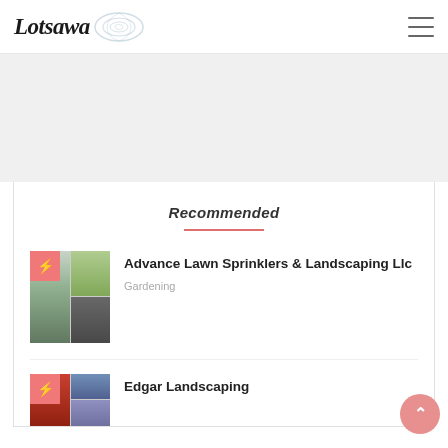Lotsawa
[Figure (illustration): Lotsawa logo with stylized text and spiral/ripple graphic]
[Figure (illustration): Hamburger menu icon (three horizontal lines)]
[Figure (photo): Advertisement/banner empty space area]
Recommended
[Figure (photo): Listing thumbnail photo grid for Advance Lawn Sprinklers & Landscaping Llc with pink badge and lightning bolt icon]
Advance Lawn Sprinklers & Landscaping Llc
Gardening
[Figure (photo): Listing thumbnail photo grid for Edgar Landscaping with pink badge and lightning bolt icon]
Edgar Landscaping